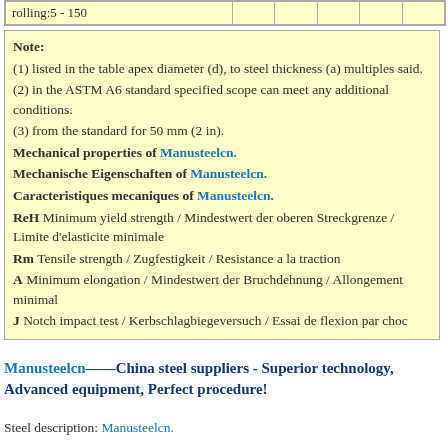| rolling:5 - 150 |  |  |  |  |  |
| --- | --- | --- | --- | --- | --- |
Note:
(1) listed in the table apex diameter (d), to steel thickness (a) multiples said.
(2) in the ASTM A6 standard specified scope can meet any additional conditions.
(3) from the standard for 50 mm (2 in).
Mechanical properties of Manusteelcn.
Mechanische Eigenschaften of Manusteelcn.
Caracteristiques mecaniques of Manusteelcn.
ReH Minimum yield strength / Mindestwert der oberen Streckgrenze / Limite d'elasticite minimale
Rm Tensile strength / Zugfestigkeit / Resistance a la traction
A Minimum elongation / Mindestwert der Bruchdehnung / Allongement minimal
J Notch impact test / Kerbschlagbiegeversuch / Essai de flexion par choc
Manusteelcn——China steel suppliers - Superior technology, Advanced equipment, Perfect procedure!
Steel description: Manusteelcn.